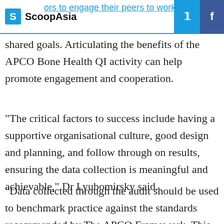ScoopAsia
shared goals. Articulating the benefits of the APCO Bone Health QI activity can help promote engagement and cooperation.
"The critical factors to success include having a supportive organisational culture, good design and planning, and follow through on results, ensuring the data collection is meaningful and achievable," Dr Lyubomirsky said.
"Data collected through the audit should be used to benchmark practice against the standards recommended by The APCO Framework. This will